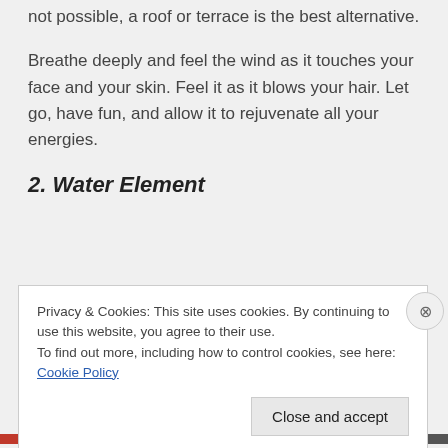not possible, a roof or terrace is the best alternative.
Breathe deeply and feel the wind as it touches your face and your skin. Feel it as it blows your hair. Let go, have fun, and allow it to rejuvenate all your energies.
2. Water Element
Privacy & Cookies: This site uses cookies. By continuing to use this website, you agree to their use.
To find out more, including how to control cookies, see here: Cookie Policy
Close and accept